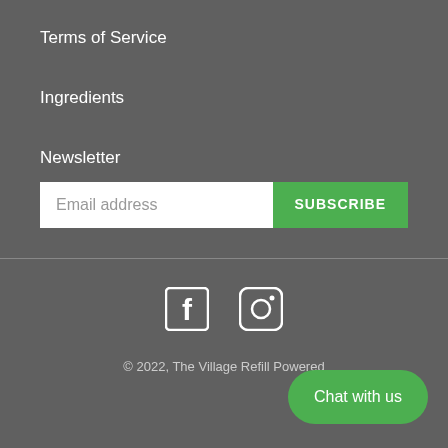Terms of Service
Ingredients
Newsletter
Email address
SUBSCRIBE
[Figure (logo): Facebook and Instagram social media icons in white]
© 2022, The Village Refill Powered
Chat with us